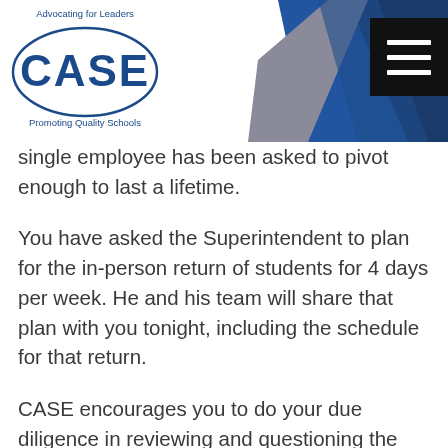[Figure (logo): CASE logo with text 'Advocating for Leaders' at top and 'Promoting Quality Schools' at bottom, with oval border around CASE letters]
single employee has been asked to pivot enough to last a lifetime.
You have asked the Superintendent to plan for the in-person return of students for 4 days per week. He and his team will share that plan with you tonight, including the schedule for that return.
CASE encourages you to do your due diligence in reviewing and questioning the plan, which is what you were elected or appointed to do. But please let the